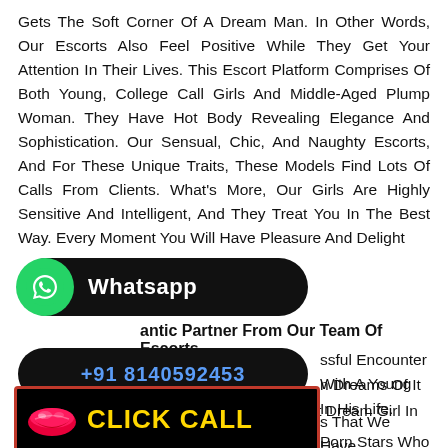Gets The Soft Corner Of A Dream Man. In Other Words, Our Escorts Also Feel Positive While They Get Your Attention In Their Lives. This Escort Platform Comprises Of Both Young, College Call Girls And Middle-Aged Plump Woman. They Have Hot Body Revealing Elegance And Sophistication. Our Sensual, Chic, And Naughty Escorts, And For These Unique Traits, These Models Find Lots Of Calls From Clients. What's More, Our Girls Are Highly Sensitive And Intelligent, And They Treat You In The Best Way. Every Moment You Will Have Pleasure And Delight
[Figure (infographic): WhatsApp contact button with green WhatsApp icon and white text on black rounded rectangle]
antic Partner From Our Team Of Escorts
[Figure (infographic): Phone number button showing +91 8140592453 in blue text on black rounded rectangle]
ssful Encounter With A Young n Dreams Of It In His Life. However, It Is Not Always Easy To Find That Dream Girl In s That We Have Presented You Porn Stars Who Serve You Professionally. Our Escort Girls Have Luscious Body To
[Figure (infographic): CLICK CALL button with red lips icon on black background with red border and yellow bold text]